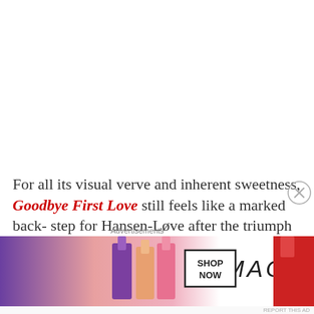For all its visual verve and inherent sweetness, Goodbye First Love still feels like a marked backstep for Hansen-Løve after the triumph of Father of My Child. Some heavy-handed scenes of
[Figure (other): MAC cosmetics advertisement showing lipsticks in purple, peach, and pink colors with MAC wordmark logo and SHOP NOW call-to-action box]